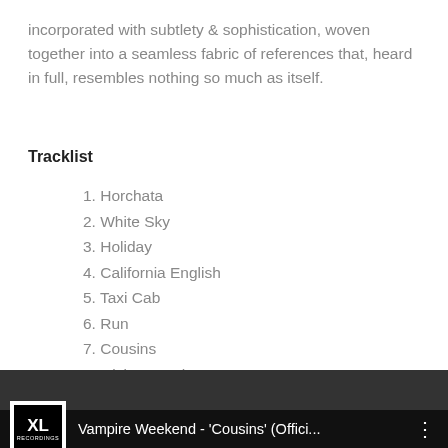incorporated with subtlety & sophistication, woven together into a seamless fabric of references that, heard in full, resembles nothing so much as itself.
Tracklist
1. Horchata
2. White Sky
3. Holiday
4. California English
5. Taxi Cab
6. Run
7. Cousins
8. Giving Up The Gun
9. Diplomat's Son
10. I Think Ur A Contra
[Figure (screenshot): XL Recordings video bar showing 'Vampire Weekend - Cousins (Offici...' with XL Recordings logo on left and three-dot menu on right, dark background.]